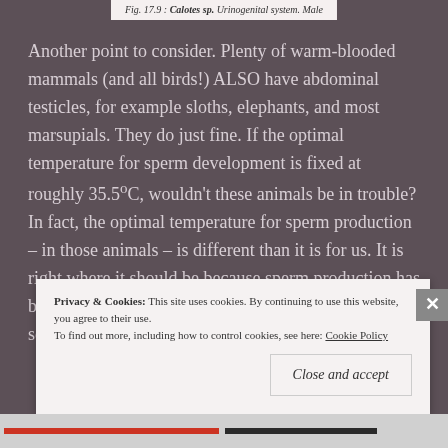Fig. 17.9 : Calotes sp. Urinogenital system. Male
Another point to consider. Plenty of warm-blooded mammals (and all birds!) ALSO have abdominal testicles, for example sloths, elephants, and most marsupials. They do just fine. If the optimal temperature for sperm development is fixed at roughly 35.5°C, wouldn't these animals be in trouble? In fact, the optimal temperature for sperm production – in those animals – is different than it is for us. It is right where it should be because sperm production has been optimized for their body temperature by natural selection. This is the basic principle of adaptation.
Privacy & Cookies: This site uses cookies. By continuing to use this website, you agree to their use.
To find out more, including how to control cookies, see here: Cookie Policy
Close and accept